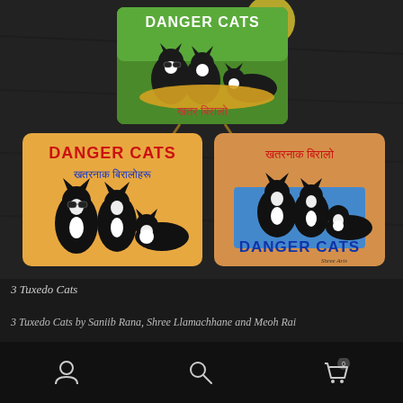[Figure (photo): Three painted 'Danger Cats' signs featuring tuxedo cats with text in English and Nepali/Devanagari script. Top sign has green background, bottom-left has orange background with 'DANGER CATS' in red and Devanagari text in blue, bottom-right has orange background with Devanagari text in red on top and 'DANGER CATS' in blue at bottom with cats on blue mat.]
3 Tuxedo Cats
3 Tuxedo Cats by Saniib Rana, Shree Llamachhane and Meoh Rai